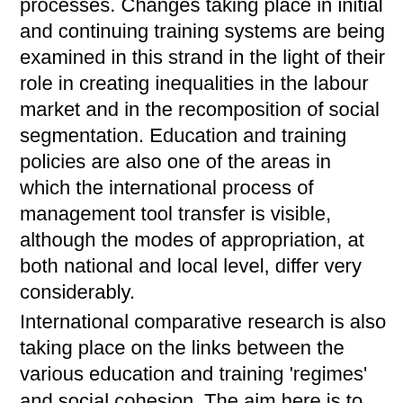produced by social systems and processes. Changes taking place in initial and continuing training systems are being examined in this strand in the light of their role in creating inequalities in the labour market and in the recomposition of social segmentation. Education and training policies are also one of the areas in which the international process of management tool transfer is visible, although the modes of appropriation, at both national and local level, differ very considerably. International comparative research is also taking place on the links between the various education and training 'regimes' and social cohesion. The aim here is to analyse 'what education does to society' as it helps to a greater or lesser degree to strengthen vertical and horizontal social ties, which is another way of approaching 'sustainability'. Initial studies have revealed the importance of taking into account the quality of links between education/training and the labour market (particularly imbalances). Finally, following on from studies carried out in the previous four-year contract period, research will be conducted into the